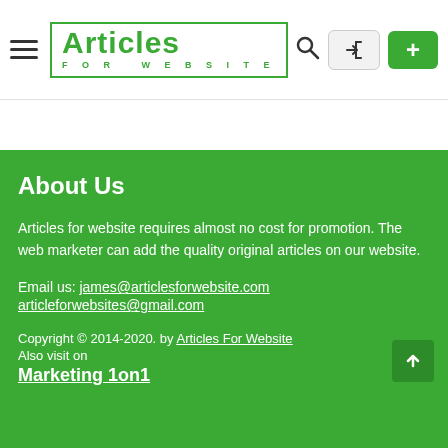Articles For Website — navigation header with hamburger menu, logo, search icon, login button, and + button
About Us
Articles for website requires almost no cost for promotion. The web marketer can add the quality original articles on our website.
Email us: james@articlesforwebsite.com articleforwebsites@gmail.com
Copyright © 2014-2020. by Articles For Website Also visit on Marketing 1on1